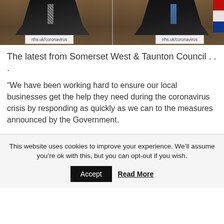[Figure (photo): Two men in suits standing at podiums labeled 'nhs.uk/coronavirus', photographed side by side at what appears to be a UK government press conference.]
The latest from Somerset West & Taunton Council . . .
“We have been working hard to ensure our local businesses get the help they need during the coronavirus crisis by responding as quickly as we can to the measures announced by the Government.
This website uses cookies to improve your experience. We’ll assume you’re ok with this, but you can opt-out if you wish.